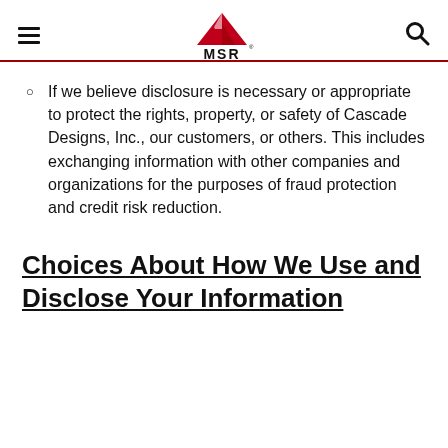MSR logo, hamburger menu, search icon
If we believe disclosure is necessary or appropriate to protect the rights, property, or safety of Cascade Designs, Inc., our customers, or others. This includes exchanging information with other companies and organizations for the purposes of fraud protection and credit risk reduction.
Choices About How We Use and Disclose Your Information